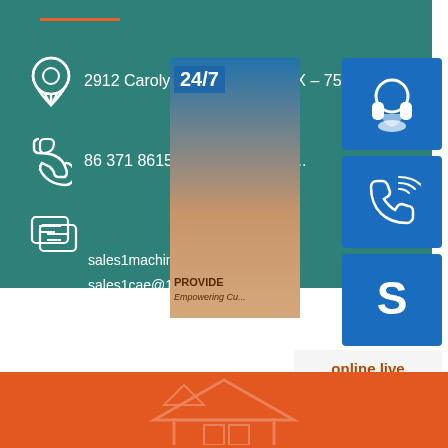[Figure (infographic): Contact information section on teal background with address, phone, and email details, overlaid with a customer support panel showing 24/7 support icons (headset, phone, Skype), a photo of a customer service representative, and an 'online live' button]
2912 Carolyns Circle Dallas TX – 75234
86 371 86151827 86 371 860...
sales1machining@163.com
sales1cae@163.com
[Figure (infographic): Orange/red banner at bottom of page with faint architectural/building graphic]